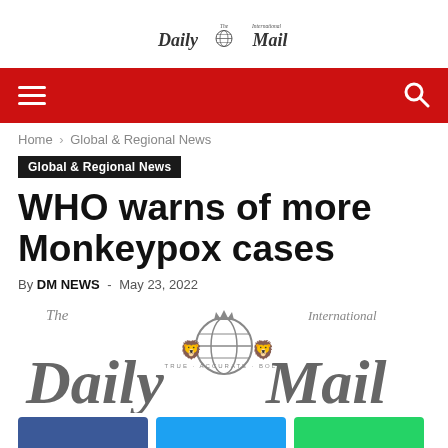The International Daily Mail
[Figure (logo): The International Daily Mail newspaper logo - small header version]
Home › Global & Regional News
Global & Regional News
WHO warns of more Monkeypox cases
By DM NEWS - May 23, 2022
[Figure (logo): The International Daily Mail large logo with globe crest, lions, and tagline TRUE ACCURATE BOLD]